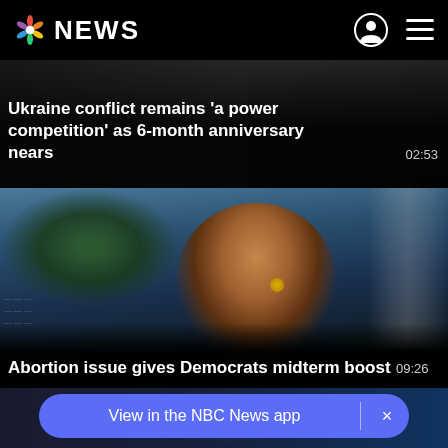NBC NEWS
[Figure (screenshot): NBC News mobile app screenshot showing news video thumbnails]
Ukraine conflict remains ‘a power competition’ as 6-month anniversary nears
02:53
[Figure (photo): Woman being interviewed outdoors near a monument]
Abortion issue gives Democrats midterm boost
09:26
View in the NBC News app